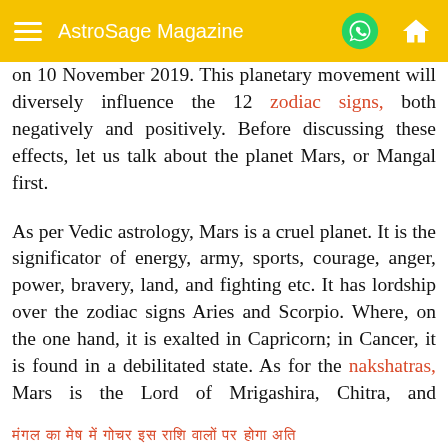AstroSage Magazine
on 10 November 2019. This planetary movement will diversely influence the 12 zodiac signs, both negatively and positively. Before discussing these effects, let us talk about the planet Mars, or Mangal first.
As per Vedic astrology, Mars is a cruel planet. It is the significator of energy, army, sports, courage, anger, power, bravery, land, and fighting etc. It has lordship over the zodiac signs Aries and Scorpio. Where, on the one hand, it is exalted in Capricorn; in Cancer, it is found in a debilitated state. As for the nakshatras, Mars is the Lord of Mrigashira, Chitra, and Dhanishta.
मंगल का मेष में गोचर इस राशि वालों पर होगा अति